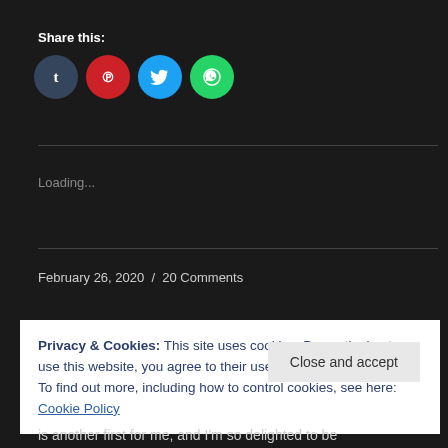Share this:
[Figure (other): Social sharing buttons: Tumblr (dark blue circle), Pinterest (red circle), Twitter (light blue circle), WhatsApp (green circle)]
Loading...
February 26, 2020 / 20 Comments
Privacy & Cookies: This site uses cookies. By continuing to use this website, you agree to their use.
To find out more, including how to control cookies, see here: Cookie Policy
Close and accept
is another first for me, and I'm so delighted to be